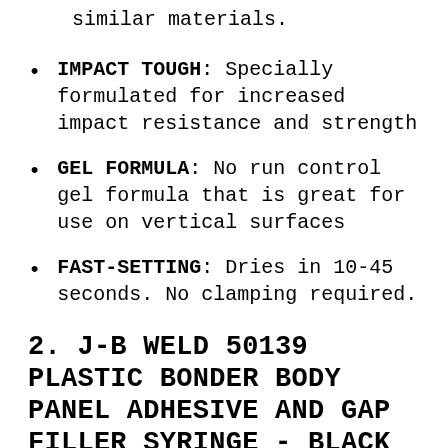similar materials.
IMPACT TOUGH: Specially formulated for increased impact resistance and strength
GEL FORMULA: No run control gel formula that is great for use on vertical surfaces
FAST-SETTING: Dries in 10-45 seconds. No clamping required.
2. J-B WELD 50139 PLASTIC BONDER BODY PANEL ADHESIVE AND GAP FILLER SYRINGE - BLACK - 25 ML